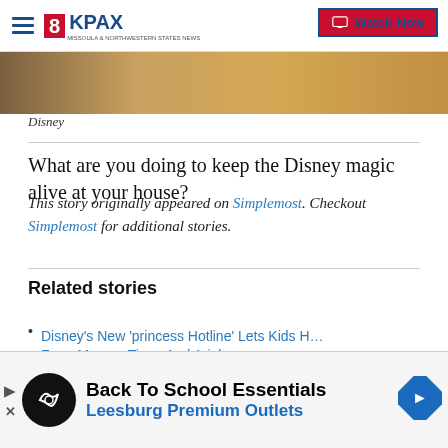8KPAX — Watch Now
[Figure (photo): Partial photo strip showing a Disney-themed image with warm brown and golden tones]
Disney
What are you doing to keep the Disney magic alive at your house?
This story originally appeared on Simplemost. Checkout Simplemost for additional stories.
Related stories
Disney's New 'princess Hotline' Lets Kids Hear From Moana, Tiana And Ariel
[Figure (infographic): Advertisement banner: Back To School Essentials — Leesburg Premium Outlets]